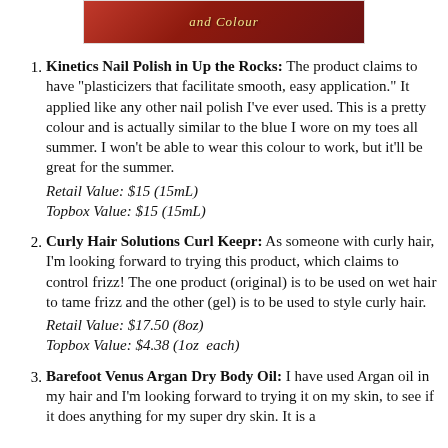[Figure (photo): Partial banner image with red background and decorative text in yellow/gold italic script reading 'and Colour']
Kinetics Nail Polish in Up the Rocks: The product claims to have "plasticizers that facilitate smooth, easy application." It applied like any other nail polish I've ever used. This is a pretty colour and is actually similar to the blue I wore on my toes all summer. I won't be able to wear this colour to work, but it'll be great for the summer.
Retail Value: $15 (15mL)
Topbox Value: $15 (15mL)
Curly Hair Solutions Curl Keepr: As someone with curly hair, I'm looking forward to trying this product, which claims to control frizz! The one product (original) is to be used on wet hair to tame frizz and the other (gel) is to be used to style curly hair.
Retail Value: $17.50 (8oz)
Topbox Value: $4.38 (1oz each)
Barefoot Venus Argan Dry Body Oil: I have used Argan oil in my hair and I'm looking forward to trying it on my skin, to see if it does anything for my super dry skin. It is a